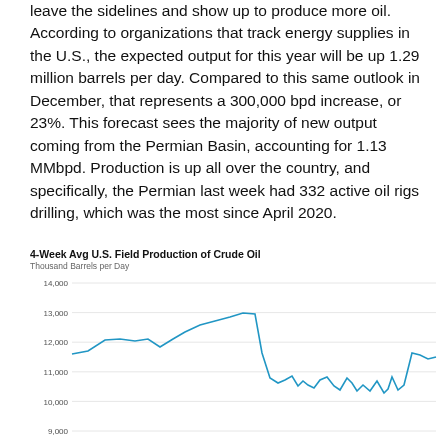leave the sidelines and show up to produce more oil. According to organizations that track energy supplies in the U.S., the expected output for this year will be up 1.29 million barrels per day. Compared to this same outlook in December, that represents a 300,000 bpd increase, or 23%. This forecast sees the majority of new output coming from the Permian Basin, accounting for 1.13 MMbpd. Production is up all over the country, and specifically, the Permian last week had 332 active oil rigs drilling, which was the most since April 2020.
[Figure (line-chart): Line chart showing 4-week average U.S. field production of crude oil over time. Y-axis ranges from approximately 9,000 to 14,000 thousand barrels per day. The line rises from ~11,700 to a peak near 13,100, then drops sharply to ~10,500, fluctuates around 11,000, drops again to ~10,500, then recovers to around 11,700.]